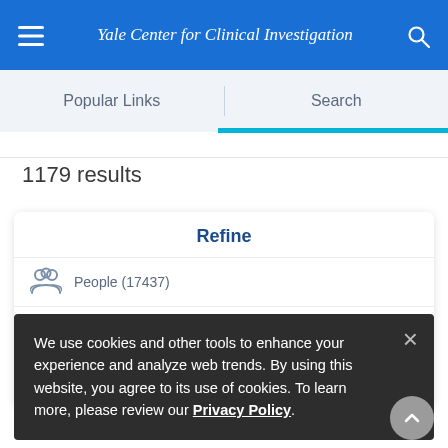Yale Center for Clinical Investigation
Popular Links
Search
1179 results
Refine
People (17437)
Pages (18350)
Documents (89310)
We use cookies and other tools to enhance your experience and analyze web trends. By using this website, you agree to its use of cookies. To learn more, please review our Privacy Policy.